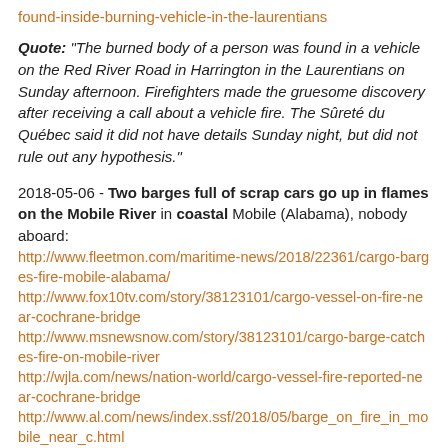found-inside-burning-vehicle-in-the-laurentians
Quote: "The burned body of a person was found in a vehicle on the Red River Road in Harrington in the Laurentians on Sunday afternoon. Firefighters made the gruesome discovery after receiving a call about a vehicle fire. The Sûreté du Québec said it did not have details Sunday night, but did not rule out any hypothesis."
2018-05-06 - Two barges full of scrap cars go up in flames on the Mobile River in coastal Mobile (Alabama), nobody aboard:
http://www.fleetmon.com/maritime-news/2018/22361/cargo-barges-fire-mobile-alabama/
http://www.fox10tv.com/story/38123101/cargo-vessel-on-fire-near-cochrane-bridge
http://www.msnewsnow.com/story/38123101/cargo-barge-catches-fire-on-mobile-river
http://wjla.com/news/nation-world/cargo-vessel-fire-reported-near-cochrane-bridge
http://www.al.com/news/index.ssf/2018/05/barge_on_fire_in_mobile_near_c.html